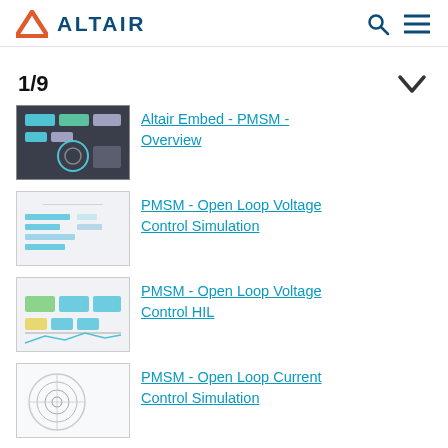ALTAIR
1/9
Altair Embed - PMSM - Overview
PMSM - Open Loop Voltage Control Simulation
PMSM - Open Loop Voltage Control HIL
PMSM - Open Loop Current Control Simulation
Altair Embed - PMSM -